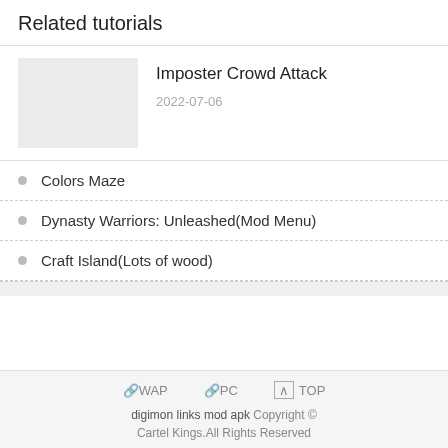Related tutorials
[Figure (photo): Thumbnail placeholder image (light grey rectangle) for Imposter Crowd Attack tutorial]
Imposter Crowd Attack
2022-07-06
Colors Maze
Dynasty Warriors: Unleashed(Mod Menu)
Craft Island(Lots of wood)
🔗WAP  🔗PC  ⌃TOP
digimon links mod apk Copyright © Cartel Kings.All Rights Reserved